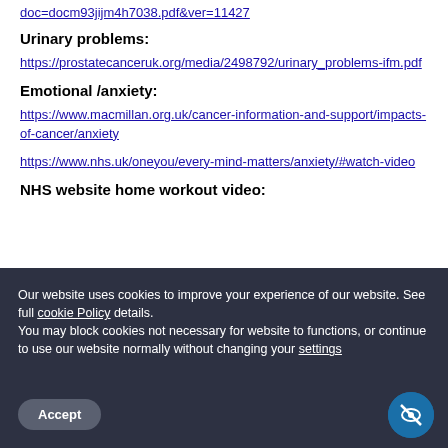doc=docm93jijm4h7038.pdf&ver=11427
Urinary problems:
https://prostatecanceruk.org/media/2498792/urinary_problems-ifm.pdf
Emotional /anxiety:
https://www.macmillan.org.uk/cancer-information-and-support/impacts-of-cancer/anxiety
https://www.nhs.uk/oneyou/every-mind-matters/anxiety/#watch-video
NHS website home workout video:
Our website uses cookies to improve your experience of our website. See full cookie Policy details. You may block cookies not necessary for website to functions, or continue to use our website normally without changing your settings